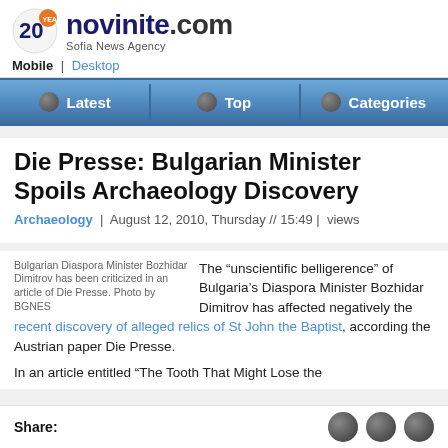novinite.com — Sofia News Agency
Mobile | Desktop
Die Presse: Bulgarian Minister Spoils Archaeology Discovery
Archaeology | August 12, 2010, Thursday // 15:49 | views
Bulgarian Diaspora Minister Bozhidar Dimitrov has been criticized in an article of Die Presse. Photo by BGNES
The "unscientific belligerence" of Bulgaria's Diaspora Minister Bozhidar Dimitrov has affected negatively the recent discovery of alleged relics of St John the Baptist, according the Austrian paper Die Presse.
In an article entitled "The Tooth That Might Lose the
Share: